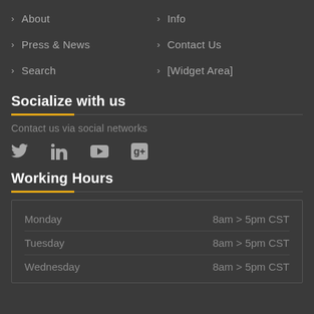> About
> Info
> Press & News
> Contact Us
> Search
> [Widget Area]
Socialize with us
Contact us via social networks
[Figure (other): Social media icons: Twitter, LinkedIn, YouTube, Google+]
Working Hours
| Day | Hours |
| --- | --- |
| Monday | 8am > 5pm CST |
| Tuesday | 8am > 5pm CST |
| Wednesday | 8am > 5pm CST |